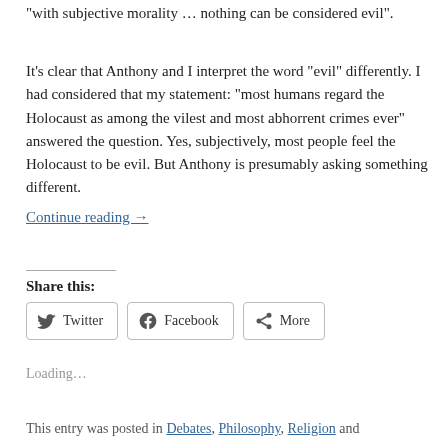“with subjective morality … nothing can be considered evil”.
It’s clear that Anthony and I interpret the word “evil” differently. I had considered that my statement: “most humans regard the Holocaust as among the vilest and most abhorrent crimes ever” answered the question. Yes, subjectively, most people feel the Holocaust to be evil. But Anthony is presumably asking something different.
Continue reading →
Share this:
Twitter
Facebook
More
Loading…
This entry was posted in Debates, Philosophy, Religion and